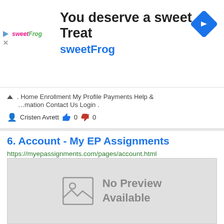[Figure (screenshot): sweetFrog advertisement banner with logo, tagline 'You deserve a sweet Treat', brand name 'sweetFrog', and a blue navigation diamond icon on the right.]
. Home Enrollment My Profile Payments Help & ...mation Contact Us Login .
Cristen Avrett  👍 0  👎 0
6. Account - My EP Assignments
https://myepassignments.com/pages/account.html
[Figure (screenshot): No Preview Available placeholder image with a grey background and image placeholder icon.]